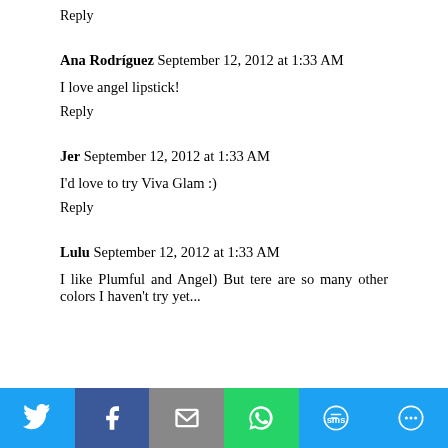Reply
Ana Rodríguez  September 12, 2012 at 1:33 AM
I love angel lipstick!
Reply
Jer  September 12, 2012 at 1:33 AM
I'd love to try Viva Glam :)
Reply
Lulu  September 12, 2012 at 1:33 AM
I like Plumful and Angel) But tere are so many other colors I haven't try yet...
[Figure (infographic): Social sharing bar with Twitter, Facebook, Email, WhatsApp, SMS, and More buttons]